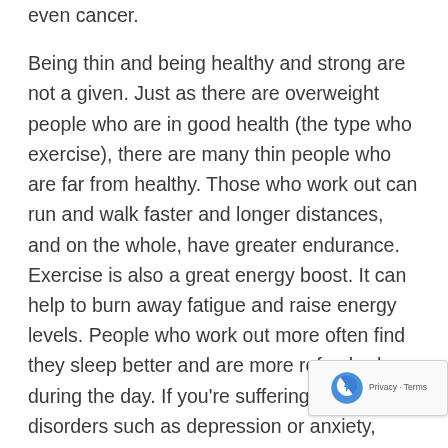even cancer.
Being thin and being healthy and strong are not a given. Just as there are overweight people who are in good health (the type who exercise), there are many thin people who are far from healthy. Those who work out can run and walk faster and longer distances, and on the whole, have greater endurance.
Exercise is also a great energy boost. It can help to burn away fatigue and raise energy levels. People who work out more often find they sleep better and are more refreshed during the day. If you’re suffering from mental disorders such as depression or anxiety, exercising allows you to disconnect and